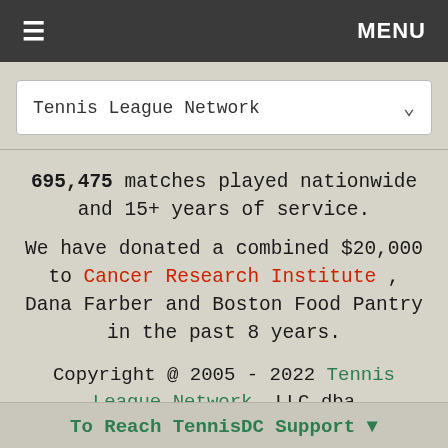≡  MENU
Tennis League Network
695,475 matches played nationwide and 15+ years of service. We have donated a combined $20,000 to Cancer Research Institute , Dana Farber and Boston Food Pantry in the past 8 years.
Copyright @ 2005 - 2022 Tennis League Network, LLC dba www.TennisDC.com
Advertising with our Service
To Reach TennisDC Support ▼